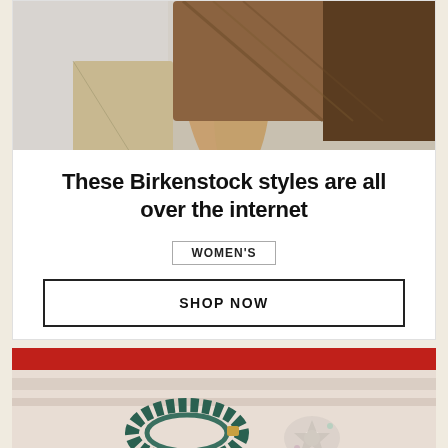[Figure (photo): Fashion photo showing a person's legs wearing Birkenstock shoes with a patterned jacket, sitting on a stool against a light gray background]
These Birkenstock styles are all over the internet
WOMEN'S
SHOP NOW
[Figure (photo): Bottom portion of page showing jewelry items including a teal braided bracelet and crystal brooch against a red and white background]